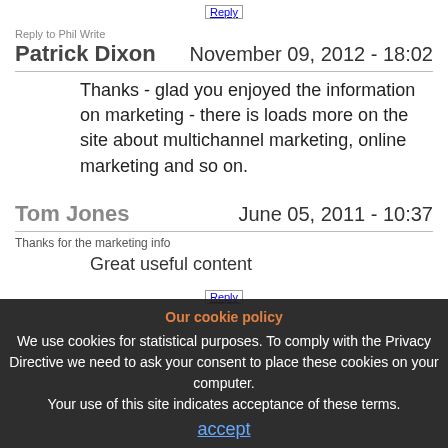Reply
Reply to Phil Write
Patrick Dixon
November 09, 2012 - 18:02
Thanks - glad you enjoyed the information on marketing - there is loads more on the site about multichannel marketing, online marketing and so on.
Tom Jones
June 05, 2011 - 10:37
Thanks for the marketing info
Great useful content
Reply
Our cookie policy
We use cookies for statistical purposes. To comply with the Privacy Directive we need to ask your consent to place these cookies on your computer.
Your use of this site indicates acceptance of these terms.
accept